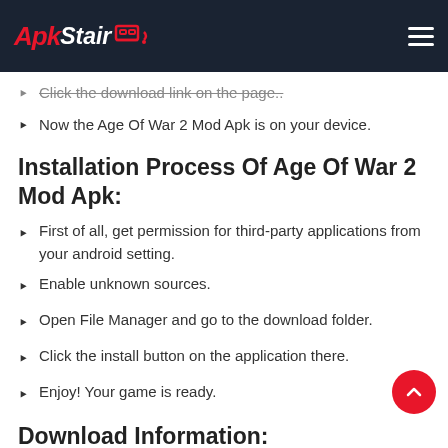ApkStair
Click the download link on the page..
Now the Age Of War 2 Mod Apk is on your device.
Installation Process Of Age Of War 2 Mod Apk:
First of all, get permission for third-party applications from your android setting.
Enable unknown sources.
Open File Manager and go to the download folder.
Click the install button on the application there.
Enjoy! Your game is ready.
Download Information: